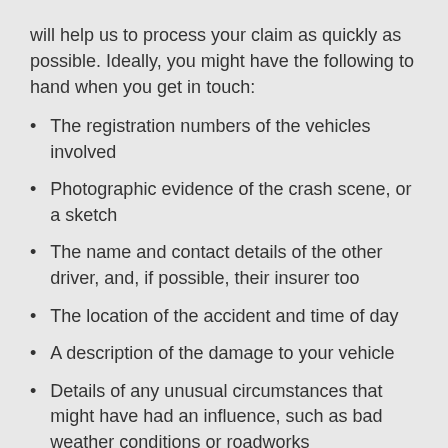will help us to process your claim as quickly as possible. Ideally, you might have the following to hand when you get in touch:
The registration numbers of the vehicles involved
Photographic evidence of the crash scene, or a sketch
The name and contact details of the other driver, and, if possible, their insurer too
The location of the accident and time of day
A description of the damage to your vehicle
Details of any unusual circumstances that might have had an influence, such as bad weather conditions or roadworks
Ultimately, we know the days after a crash can be difficult and we want to...